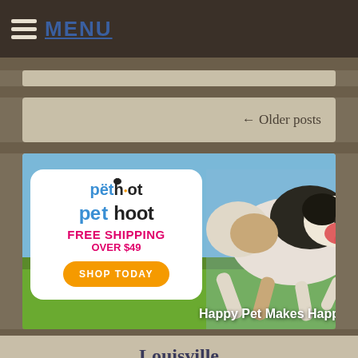MENU
← Older posts
[Figure (photo): Pet Hoot advertisement banner with logo, FREE SHIPPING OVER $49 text, SHOP TODAY orange button, and a running dog photo with 'Happy Pet Makes Happ...' text overlay]
Louisville Lost and Found
Sout...